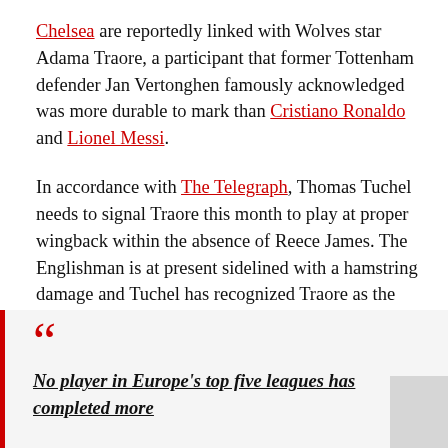Chelsea are reportedly linked with Wolves star Adama Traore, a participant that former Tottenham defender Jan Vertonghen famously acknowledged was more durable to mark than Cristiano Ronaldo and Lionel Messi.
In accordance with The Telegraph, Thomas Tuchel needs to signal Traore this month to play at proper wingback within the absence of Reece James. The Englishman is at present sidelined with a hamstring damage and Tuchel has recognized Traore as the right substitute.
No player in Europe's top five leagues has completed more